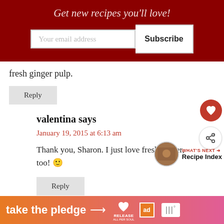Get new recipes you'll love!
fresh ginger pulp.
Reply
valentina says
January 19, 2015 at 6:13 am
Thank you, Sharon. I just love fresh ginger, too! 🙂
Reply
[Figure (other): Advertisement banner: take the pledge with arrow, RELEASE logo, ad marker, and brand logo]
[Figure (other): Heart favorite button (red circle with white heart icon)]
[Figure (other): Share button (white circle with share icon)]
[Figure (other): What's Next: Recipe Index thumbnail navigation]